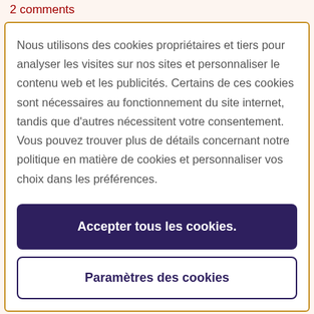2 comments
Nous utilisons des cookies propriétaires et tiers pour analyser les visites sur nos sites et personnaliser le contenu web et les publicités. Certains de ces cookies sont nécessaires au fonctionnement du site internet, tandis que d'autres nécessitent votre consentement. Vous pouvez trouver plus de détails concernant notre politique en matière de cookies et personnaliser vos choix dans les préférences.
Accepter tous les cookies.
Paramètres des cookies